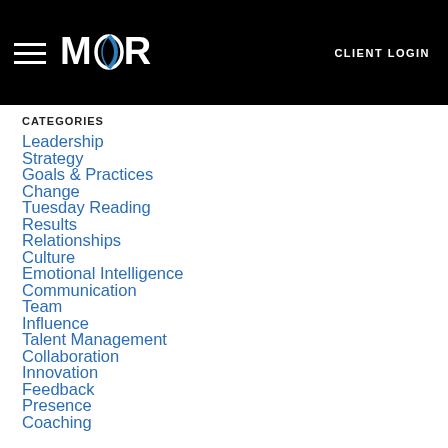MOR | CLIENT LOGIN
CATEGORIES
Leadership
Strategy
Goals & Practices
Change
Tuesday Reading
Results
Relationships
Culture
Emotional Intelligence
Communication
Team
Influence
Talent Management
Collaboration
Innovation
Feedback
Presence
Coaching